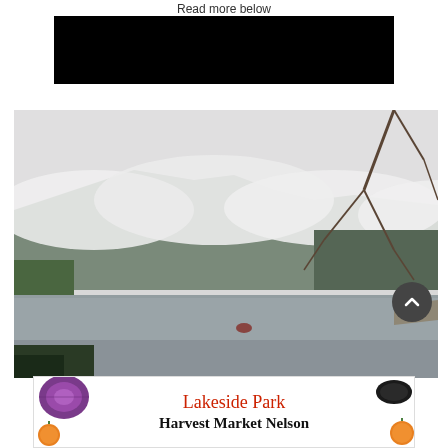Read more below
[Figure (photo): Black redacted/censored bar]
[Figure (photo): Misty lake scene with forested mountains shrouded in low clouds, rocky shoreline on the left with evergreen trees, bare branches on the right, and calm grey water in the foreground with a small red object floating in the middle distance.]
[Figure (photo): Advertisement banner for Lakeside Park Harvest Market Nelson, with decorative food images on sides and text in red and black.]